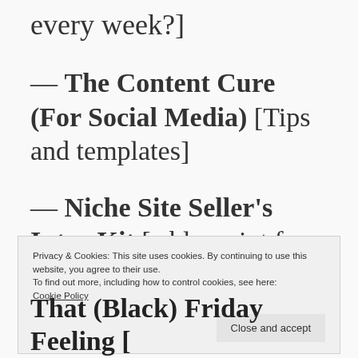every week?]
— The Content Cure (For Social Media) [Tips and templates]
— Niche Site Seller's Intro Kit [a blueprint for ensuring your
Privacy & Cookies: This site uses cookies. By continuing to use this website, you agree to their use. To find out more, including how to control cookies, see here: Cookie Policy
Close and accept
That (Black) Friday Feeling [